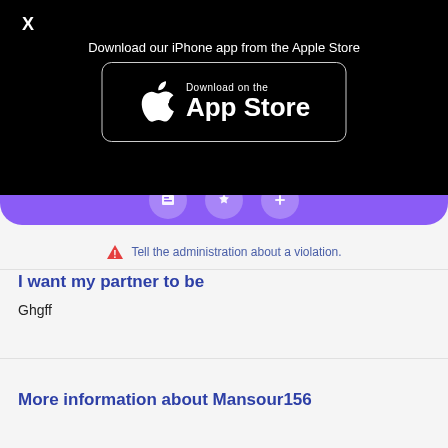X
Download our iPhone app from the Apple Store
[Figure (screenshot): App Store download button with Apple logo and 'Download on the App Store' text on black background]
[Figure (screenshot): Purple banner with three circular icon buttons partially visible]
⚠ Tell the administration about a violation.
I want my partner to be
Ghgff
More information about Mansour156